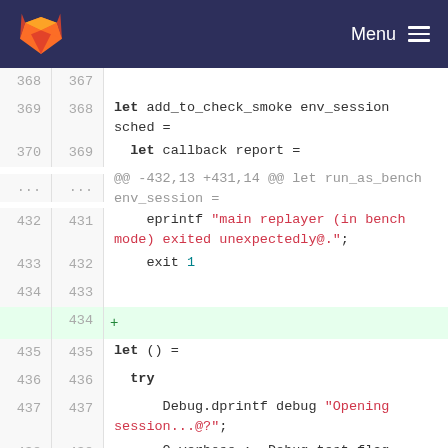Menu
[Figure (screenshot): GitLab code diff viewer showing lines 368-440 of an OCaml source file, with line numbers, added line highlighted in green, and syntax highlighting for keywords and strings.]